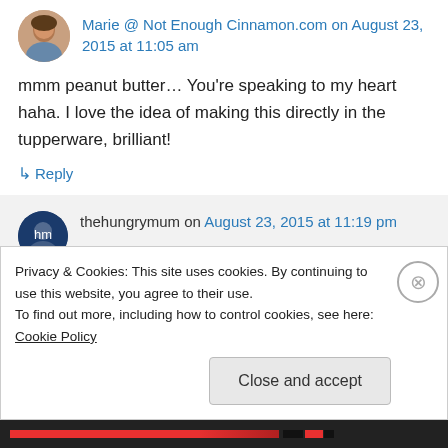Marie @ Not Enough Cinnamon.com on August 23, 2015 at 11:05 am
mmm peanut butter… You're speaking to my heart haha. I love the idea of making this directly in the tupperware, brilliant!
↳ Reply
thehungrymum on August 23, 2015 at 11:19 pm
Privacy & Cookies: This site uses cookies. By continuing to use this website, you agree to their use.
To find out more, including how to control cookies, see here: Cookie Policy